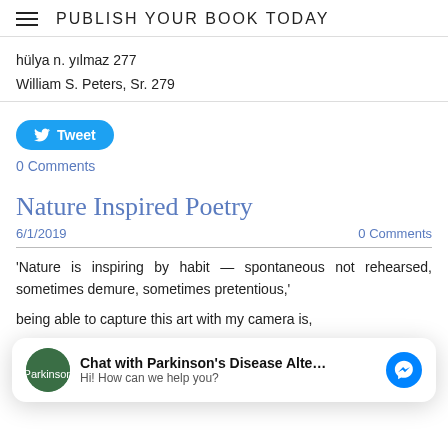PUBLISH YOUR BOOK TODAY
hülya n. yılmaz 277
William S. Peters, Sr. 279
[Figure (other): Twitter Tweet button (blue rounded button with bird icon and 'Tweet' text)]
0 Comments
Nature Inspired Poetry
6/1/2019
0 Comments
'Nature is inspiring by habit — spontaneous not rehearsed, sometimes demure, sometimes pretentious,'
[Figure (other): Chat overlay popup: Chat with Parkinson's Disease Alte… | Hi! How can we help you? — with green avatar and blue Messenger icon]
being able to capture this art with my camera is,